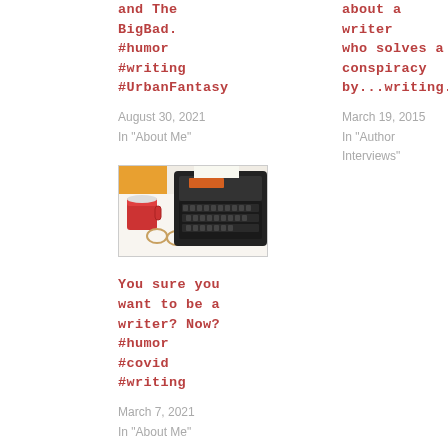and The BigBad. #humor #writing #UrbanFantasy
August 30, 2021
In "About Me"
about a writer who solves a conspiracy by...writing.
March 19, 2015
In "Author Interviews"
[Figure (photo): A typewriter with a red coffee mug and glasses on a white surface]
You sure you want to be a writer? Now? #humor #covid #writing
March 7, 2021
In "About Me"